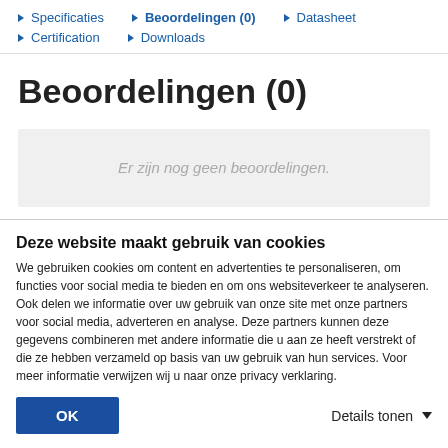Specificaties | Beoordelingen (0) | Datasheet | Certification | Downloads
Beoordelingen (0)
Er zijn nog geen beoordelingen.
Deze website maakt gebruik van cookies
We gebruiken cookies om content en advertenties te personaliseren, om functies voor social media te bieden en om ons websiteverkeer te analyseren. Ook delen we informatie over uw gebruik van onze site met onze partners voor social media, adverteren en analyse. Deze partners kunnen deze gegevens combineren met andere informatie die u aan ze heeft verstrekt of die ze hebben verzameld op basis van uw gebruik van hun services. Voor meer informatie verwijzen wij u naar onze privacy verklaring.
OK
Details tonen